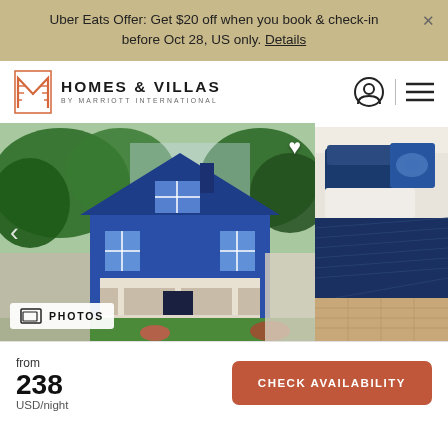Uber Eats Offer: Get $20 off when you book & check-in before Oct 28, US only. Details
[Figure (logo): Homes & Villas by Marriott International logo with geometric M icon in coral/orange outline]
[Figure (photo): Blue craftsman-style house exterior with green trees and white porch, with adjacent photo of outdoor patio furniture with blue cushions]
from
238
USD/night
CHECK AVAILABILITY